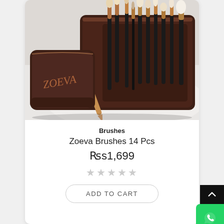[Figure (photo): ZOEVA branded brown leather makeup brush case open, displaying multiple makeup brushes with rose gold and black handles arranged inside, on a white fur surface]
Brushes
Zoeva Brushes 14 Pcs
Rs1,699
★★★★★ (empty stars rating)
ADD TO CART